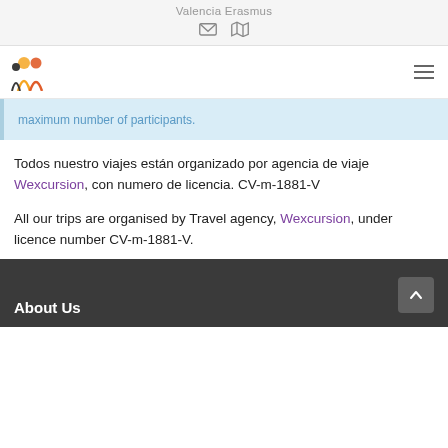Valencia Erasmus
maximum number of participants.
Todos nuestro viajes están organizado por agencia de viaje Wexcursion, con numero de licencia. CV-m-1881-V
All our trips are organised by Travel agency, Wexcursion, under licence number CV-m-1881-V.
About Us